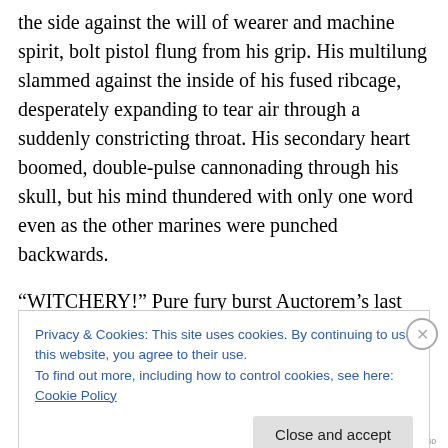the side against the will of wearer and machine spirit, bolt pistol flung from his grip. His multilung slammed against the inside of his fused ribcage, desperately expanding to tear air through a suddenly constricting throat. His secondary heart boomed, double-pulse cannonading through his skull, but his mind thundered with only one word even as the other marines were punched backwards.
“WITCHERY!” Pure fury burst Auctorem’s last breath through the unnatural obstruction to curse the abominations inflicted on the Emperor’s galaxy. The
Privacy & Cookies: This site uses cookies. By continuing to use this website, you agree to their use.
To find out more, including how to control cookies, see here: Cookie Policy